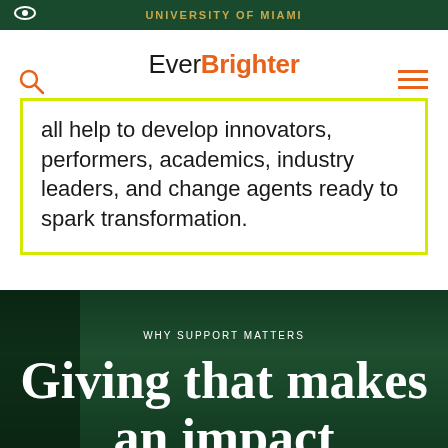UNIVERSITY OF MIAMI
Ever Brighter
all help to develop innovators, performers, academics, industry leaders, and change agents ready to spark transformation.
WHY SUPPORT MATTERS
Giving that makes an impact